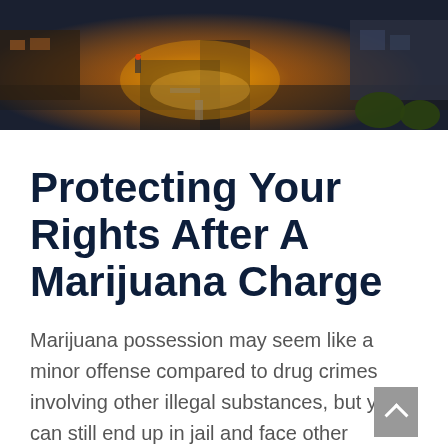[Figure (photo): Aerial nighttime view of a city intersection with orange/yellow street lighting, roads, and buildings visible from above.]
Protecting Your Rights After A Marijuana Charge
Marijuana possession may seem like a minor offense compared to drug crimes involving other illegal substances, but you can still end up in jail and face other repercussions.
Do not take marijuana possession charges lightly. At the Peoples Law Firm, our attorneys